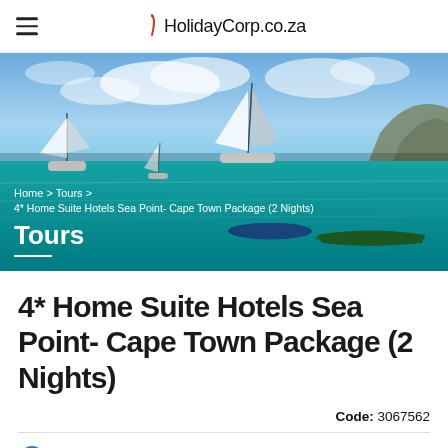HolidayCorp.co.za
[Figure (photo): Turquoise ocean with several sailboats and small boats anchored, blue sky with clouds, rocky headland in background. Overlay text shows breadcrumb navigation and Tours heading.]
Home > Tours >
4* Home Suite Hotels Sea Point- Cape Town Package (2 Nights)
Tours
4* Home Suite Hotels Sea Point- Cape Town Package (2 Nights)
Code: 3067562